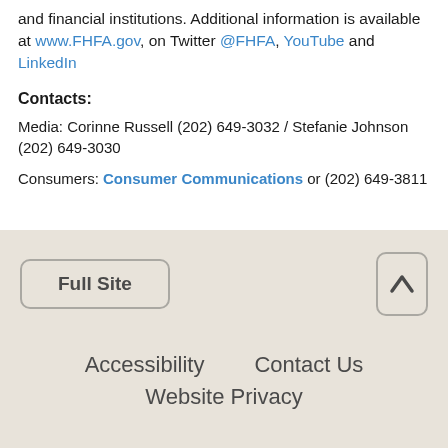and financial institutions. Additional information is available at www.FHFA.gov, on Twitter @FHFA, YouTube and LinkedIn
Contacts:
Media: Corinne Russell (202) 649-3032 / Stefanie Johnson (202) 649-3030
Consumers: Consumer Communications or (202) 649-3811
Full Site | Accessibility | Contact Us | Website Privacy